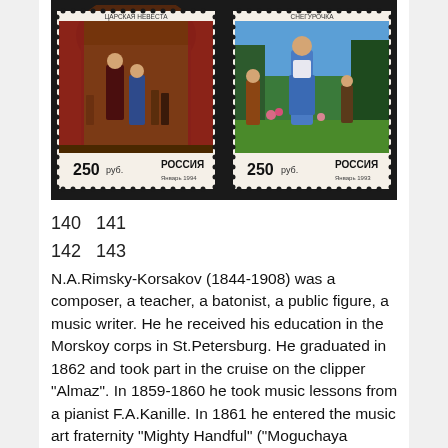[Figure (photo): Two Russian postage stamps depicting scenes from operas. Left stamp shows 'Tsarskaya Nevesta' (250 rubles, Russia 1994). Right stamp shows 'Snegurochka' (250 rubles, Russia 1993). Both stamps feature operatic scenes with costumed figures against painted backdrops.]
140   141
142   143
N.A.Rimsky-Korsakov (1844-1908) was a composer, a teacher, a batonist, a public figure, a music writer. He he received his education in the Morskoy corps in St.Petersburg. He graduated in 1862 and took part in the cruise on the clipper "Almaz". In 1859-1860 he took music lessons from a pianist F.A.Kanille. In 1861 he entered the music art fraternity "Mighty Handful" ("Moguchaya Kuchka"). Rimsky-Korsakov was the professor of the St.petersburg conservatoire, naval department brass bands inspector, Director of the Free academy of music, the chapel manager assistant, he chaired the Belyayevsky coterie and appered as a director of operas and symphony concerts. But opera was the main